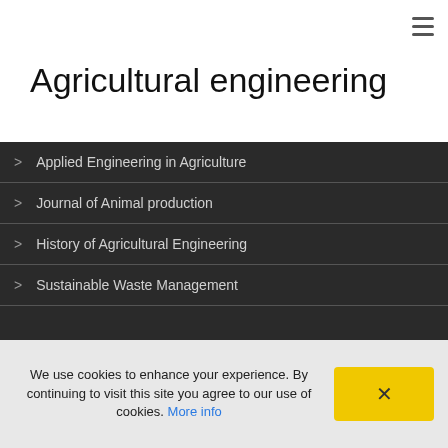≡
Agricultural engineering
> Applied Engineering in Agriculture
> Journal of Animal production
> History of Agricultural Engineering
> Sustainable Waste Management
QUICK LINK
We use cookies to enhance your experience. By continuing to visit this site you agree to our use of cookies. More info